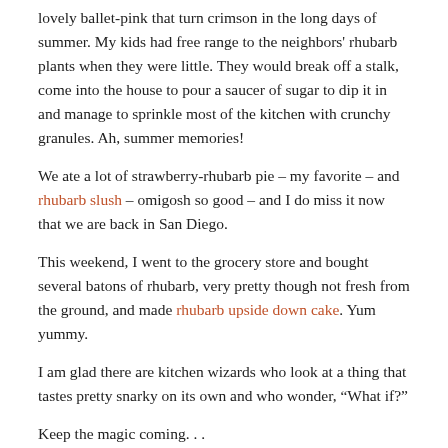lovely ballet-pink that turn crimson in the long days of summer. My kids had free range to the neighbors' rhubarb plants when they were little. They would break off a stalk, come into the house to pour a saucer of sugar to dip it in and manage to sprinkle most of the kitchen with crunchy granules. Ah, summer memories!
We ate a lot of strawberry-rhubarb pie – my favorite – and rhubarb slush – omigosh so good – and I do miss it now that we are back in San Diego.
This weekend, I went to the grocery store and bought several batons of rhubarb, very pretty though not fresh from the ground, and made rhubarb upside down cake. Yum yummy.
I am glad there are kitchen wizards who look at a thing that tastes pretty snarky on its own and who wonder, “What if?”
Keep the magic coming. . .